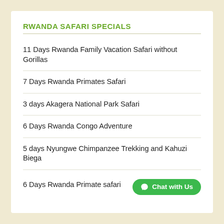RWANDA SAFARI SPECIALS
11 Days Rwanda Family Vacation Safari without Gorillas
7 Days Rwanda Primates Safari
3 days Akagera National Park Safari
6 Days Rwanda Congo Adventure
5 days Nyungwe Chimpanzee Trekking and Kahuzi Biega
6 Days Rwanda Primate safari